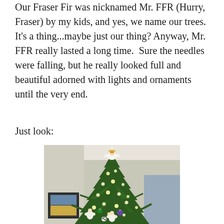Our Fraser Fir was nicknamed Mr. FFR (Hurry, Fraser) by my kids, and yes, we name our trees. It's a thing...maybe just our thing? Anyway, Mr. FFR really lasted a long time. Sure the needles were falling, but he really looked full and beautiful adorned with lights and ornaments until the very end.
Just look:
[Figure (photo): A decorated Christmas tree with lights and ornaments including angel figures, topped with an angel topper, partially cropped at top as the tree reaches the ceiling. A framed picture is visible in the background on the left.]